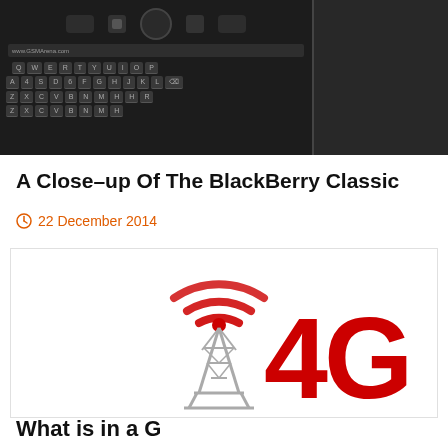[Figure (photo): Close-up photo of a BlackBerry Classic smartphone showing the physical QWERTY keyboard and navigation buttons, with the phone shown from front and side angles against a dark background.]
A Close-up Of The BlackBerry Classic
22 December 2014
[Figure (illustration): Illustration of a 4G wireless network concept showing a red radio signal tower with red wifi-style signal arcs above it, next to large red 3D text reading '4G', on a white background.]
What is in a G